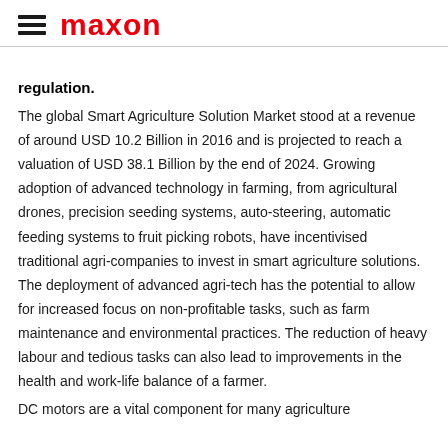maxon
regulation.
The global Smart Agriculture Solution Market stood at a revenue of around USD 10.2 Billion in 2016 and is projected to reach a valuation of USD 38.1 Billion by the end of 2024. Growing adoption of advanced technology in farming, from agricultural drones, precision seeding systems, auto-steering, automatic feeding systems to fruit picking robots, have incentivised traditional agri-companies to invest in smart agriculture solutions. The deployment of advanced agri-tech has the potential to allow for increased focus on non-profitable tasks, such as farm maintenance and environmental practices. The reduction of heavy labour and tedious tasks can also lead to improvements in the health and work-life balance of a farmer.
DC motors are a vital component for many agriculture